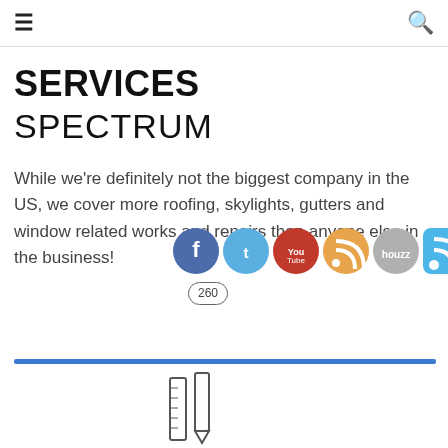≡  🔍
SERVICES SPECTRUM
While we're definitely not the biggest company in the US, we cover more roofing, skylights, gutters and window related works and repairs than anyone else in the business!
[Figure (illustration): Social media icons: Facebook, Twitter, YouTube, RSS (orange), Houzz, RSS (blue). Below: badge reading 260.]
[Figure (illustration): Blue horizontal divider bar and partial pencil/ruler illustration at bottom of page.]